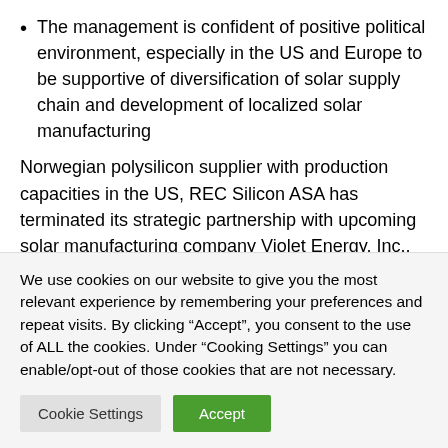The management is confident of positive political environment, especially in the US and Europe to be supportive of diversification of solar supply chain and development of localized solar manufacturing
Norwegian polysilicon supplier with production capacities in the US, REC Silicon ASA has terminated its strategic partnership with upcoming solar manufacturing company Violet Energy, Inc., doing business as Violet Power. The 2 announced a partnership in October 2020 with Violet Power agreeing to be the local buyer for its US manufactured polysilicon, and their attempt to create local integrated domestic solar
We use cookies on our website to give you the most relevant experience by remembering your preferences and repeat visits. By clicking “Accept”, you consent to the use of ALL the cookies. Under “Cooking Settings” you can enable/opt-out of those cookies that are not necessary.